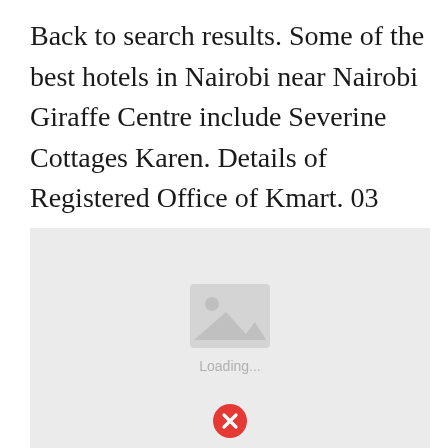Back to search results. Some of the best hotels in Nairobi near Nairobi Giraffe Centre include Severine Cottages Karen. Details of Registered Office of Kmart. 03 8870 1400.
[Figure (screenshot): A placeholder image area with a grey background, a broken/loading image icon in the center, the text 'Loading...' below it, and a red circle with white X error icon at the bottom center.]